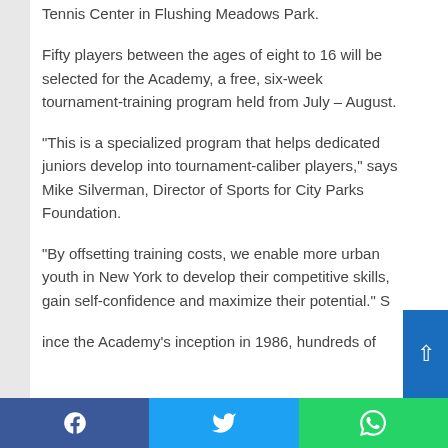Tennis Center in Flushing Meadows Park.
Fifty players between the ages of eight to 16 will be selected for the Academy, a free, six-week tournament-training program held from July – August.
“This is a specialized program that helps dedicated juniors develop into tournament-caliber players,” says Mike Silverman, Director of Sports for City Parks Foundation.
“By offsetting training costs, we enable more urban youth in New York to develop their competitive skills, gain self-confidence and maximize their potential.” S
ince the Academy’s inception in 1986, hundreds of